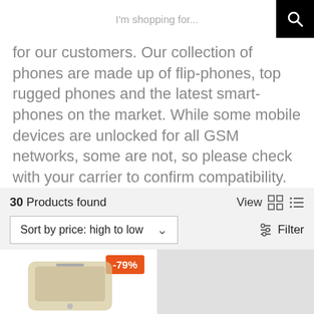I'm shopping for...
for our customers. Our collection of phones are made up of flip-phones, top rugged phones and the latest smart-phones on the market. While some mobile devices are unlocked for all GSM networks, some are not, so please check with your carrier to confirm compatibility. All our phones are covered by the Mr Aberthon 14 day return policy, no questions asked.
30 Products found
Sort by price: high to low
[Figure (screenshot): Product thumbnail showing a smartphone with a -79% badge discount label and a grey placeholder area on the right]